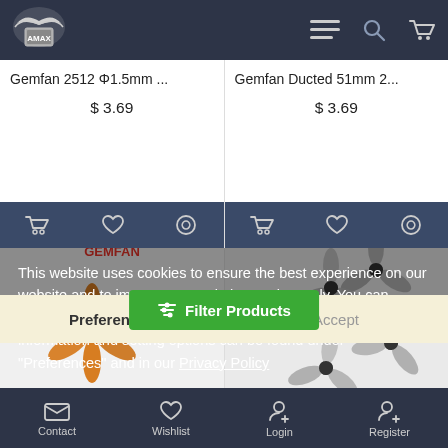[Figure (logo): AMAX brand logo with eagle wings on dark header]
Gemfan 2512 Φ1.5mm ...
$ 3.69
Gemfan Ducted 51mm 2...
$ 3.69
[Figure (photo): Orange 6-blade propeller (Gemfan 2512)]
[Figure (photo): Gray 3-blade ducted propellers set (Gemfan Ducted 51mm)]
This website uses cookies to ensure the best experience on our website and to improve our website continuously. You can withdraw your voluntary consent at any time. Further information and setting options can be found under "Preferences" and in our Privacy Policy
Preferences
Accept
Filter Products
Contact
Wishlist
Login
Register